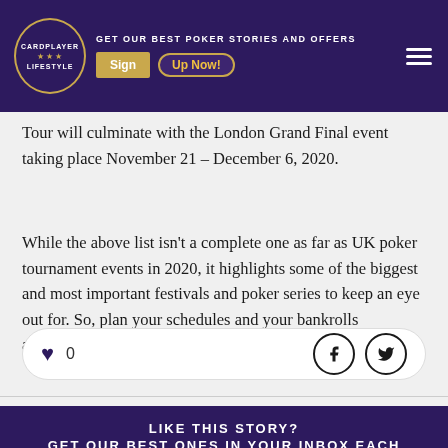CARDPLAYER LIFESTYLE | GET OUR BEST POKER STORIES AND OFFERS | Sign Up Now!
Tour will culminate with the London Grand Final event taking place November 21 – December 6, 2020.
While the above list isn't a complete one as far as UK poker tournament events in 2020, it highlights some of the biggest and most important festivals and poker series to keep an eye out for. So, plan your schedules and your bankrolls accordingly!
[Figure (other): Like/reaction bar with heart icon and count of 0, and social share buttons for Facebook and Twitter]
LIKE THIS STORY? GET OUR BEST ONES IN YOUR INBOX EACH